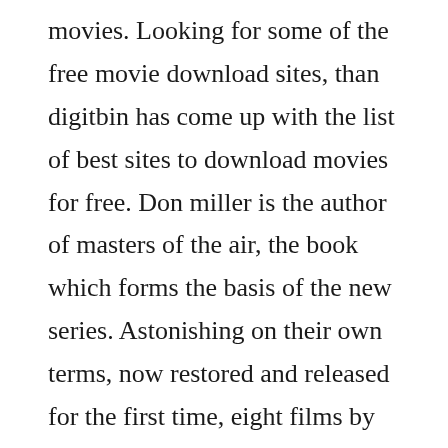movies. Looking for some of the free movie download sites, than digitbin has come up with the list of best sites to download movies for free. Don miller is the author of masters of the air, the book which forms the basis of the new series. Astonishing on their own terms, now restored and released for the first time, eight films by jean rouch is essential for anyone interested in better understanding the development of ethnography and the crosscurrents of colonialism and postcolonial social change in africa, as well as documentary film practice, film history, and